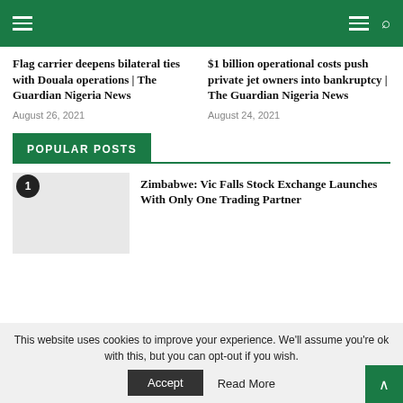Navigation bar with hamburger menu and search icon
Flag carrier deepens bilateral ties with Douala operations | The Guardian Nigeria News
August 26, 2021
$1 billion operational costs push private jet owners into bankruptcy | The Guardian Nigeria News
August 24, 2021
POPULAR POSTS
Zimbabwe: Vic Falls Stock Exchange Launches With Only One Trading Partner
This website uses cookies to improve your experience. We'll assume you're ok with this, but you can opt-out if you wish.
Accept
Read More